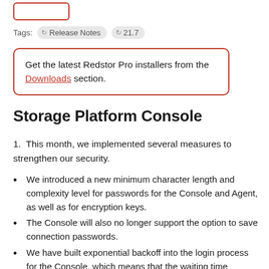[Button — cropped at top]
Tags: Release Notes  21.7
Get the latest Redstor Pro installers from the Downloads section.
Storage Platform Console
1. This month, we implemented several measures to strengthen our security.
We introduced a new minimum character length and complexity level for passwords for the Console and Agent, as well as for encryption keys.
The Console will also no longer support the option to save connection passwords.
We have built exponential backoff into the login process for the Console, which means that the waiting time between login attempts will increase with every failed